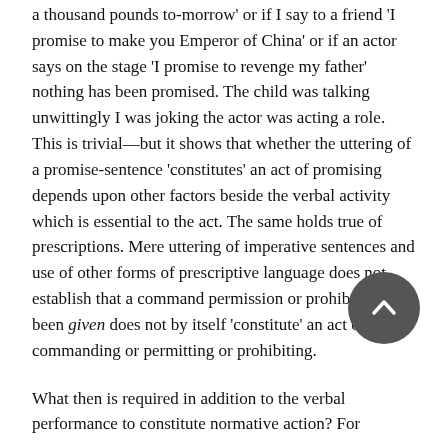a thousand pounds to-morrow' or if I say to a friend 'I promise to make you Emperor of China' or if an actor says on the stage 'I promise to revenge my father' nothing has been promised. The child was talking unwittingly I was joking the actor was acting a role. This is trivial—but it shows that whether the uttering of a promise-sentence 'constitutes' an act of promising depends upon other factors beside the verbal activity which is essential to the act. The same holds true of prescriptions. Mere uttering of imperative sentences and use of other forms of prescriptive language does not establish that a command permission or prohibition has been given does not by itself 'constitute' an act of commanding or permitting or prohibiting.
What then is required in addition to the verbal performance to constitute normative action? For